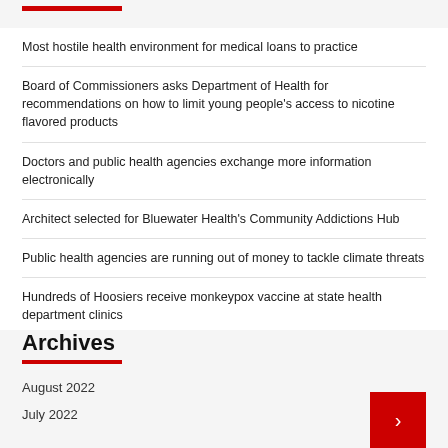Most hostile health environment for medical loans to practice
Board of Commissioners asks Department of Health for recommendations on how to limit young people's access to nicotine flavored products
Doctors and public health agencies exchange more information electronically
Architect selected for Bluewater Health's Community Addictions Hub
Public health agencies are running out of money to tackle climate threats
Hundreds of Hoosiers receive monkeypox vaccine at state health department clinics
Archives
August 2022
July 2022